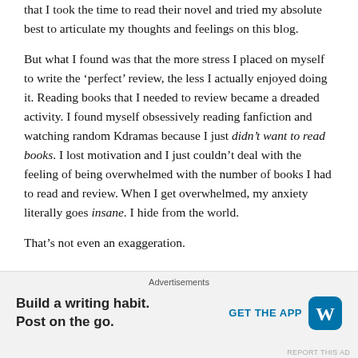that I took the time to read their novel and tried my absolute best to articulate my thoughts and feelings on this blog.
But what I found was that the more stress I placed on myself to write the ‘perfect’ review, the less I actually enjoyed doing it. Reading books that I needed to review became a dreaded activity. I found myself obsessively reading fanfiction and watching random Kdramas because I just didn’t want to read books. I lost motivation and I just couldn’t deal with the feeling of being overwhelmed with the number of books I had to read and review. When I get overwhelmed, my anxiety literally goes insane. I hide from the world.
That’s not even an exaggeration.
I don’t leave home. I don’t open Twitter. I don’t message anyone.
Advertisements
Build a writing habit. Post on the go.
GET THE APP
REPORT THIS AD